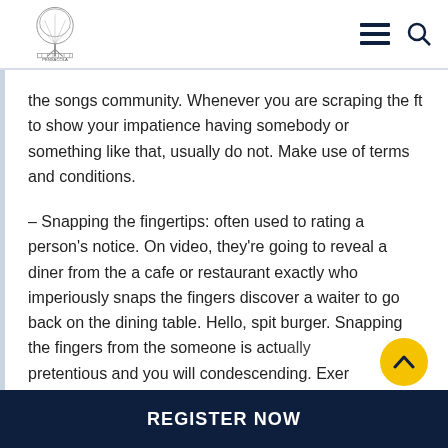Pensacola logo header with hamburger menu and search icon
the songs community. Whenever you are scraping the ft to show your impatience having somebody or something like that, usually do not. Make use of terms and conditions.
– Snapping the fingertips: often used to rating a person's notice. On video, they're going to reveal a diner from the a cafe or restaurant exactly who imperiously snaps the fingers discover a waiter to go back on the dining table. Hello, spit burger. Snapping the fingers from the someone is actually pretentious and you will condescending. Exer
REGISTER NOW